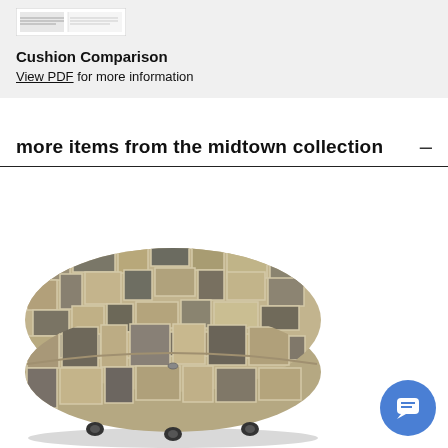[Figure (screenshot): Small thumbnail image of a document, likely a cushion comparison PDF preview]
Cushion Comparison
View PDF for more information
more items from the midtown collection  –
[Figure (photo): Round tufted storage ottoman with patchwork mosaic pattern fabric in beige, gray, and brown tones, on small caster wheels]